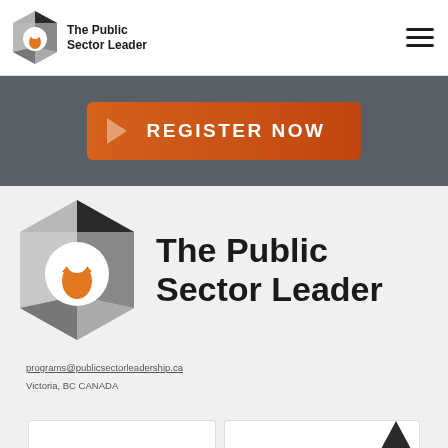[Figure (logo): The Public Sector Leader hexagon logo with orange teardrop icon, shown in navigation bar]
[Figure (logo): Orange REGISTER NOW button with chevron arrow on dark grey banner background]
[Figure (logo): Large The Public Sector Leader logo with hexagonal icon on light grey background]
programs@publicsectorleadership.ca
Victoria, BC CANADA
[Figure (other): Bottom section showing partial white cards, left card partially visible, right card showing partial dark logo]